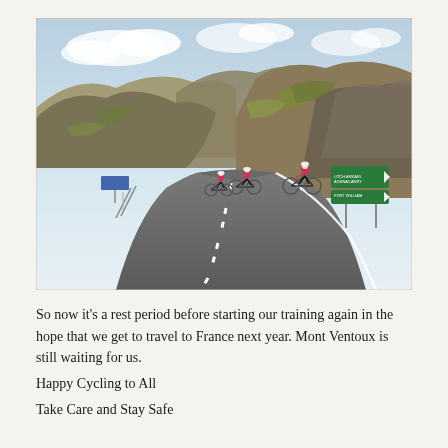[Figure (photo): Three cyclists riding road bikes along a winding mountain road in a highland landscape, with green hills, rocky outcrops, and road signs visible on the right side. Overcast sky with patches of blue.]
So now it's a rest period before starting our training again in the hope that we get to travel to France next year. Mont Ventoux is still waiting for us.
Happy Cycling to All
Take Care and Stay Safe